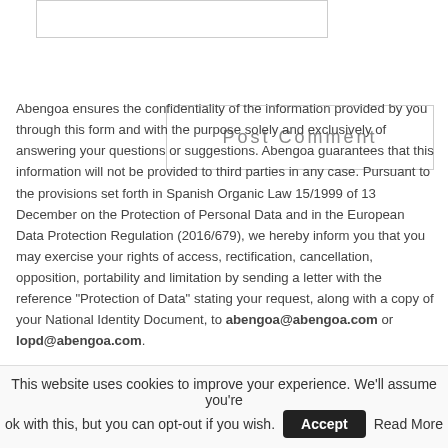[Figure (other): Partial form input box cropped at top of page]
[Figure (other): Post Comment button, large bordered box with text]
Abengoa ensures the confidentiality of the information provided by you through this form and with the purpose solely and exclusively of answering your questions or suggestions. Abengoa guarantees that this information will not be provided to third parties in any case. Pursuant to the provisions set forth in Spanish Organic Law 15/1999 of 13 December on the Protection of Personal Data and in the European Data Protection Regulation (2016/679), we hereby inform you that you may exercise your rights of access, rectification, cancellation, opposition, portability and limitation by sending a letter with the reference "Protection of Data" stating your request, along with a copy of your National Identity Document, to abengoa@abengoa.com or lopd@abengoa.com.

Likewise, you may contact the Company's DPO "Data Protection Officer" to clarify
This website uses cookies to improve your experience. We'll assume you're ok with this, but you can opt-out if you wish. Accept Read More